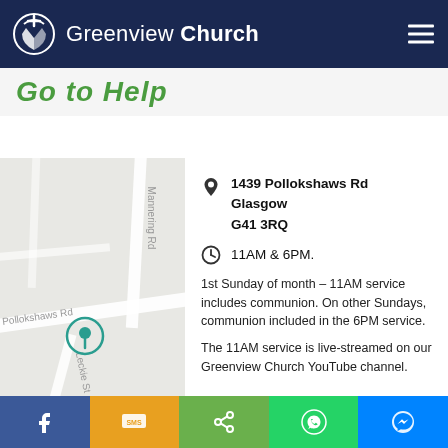Greenview Church
Go to Help
[Figure (map): Street map showing Pollokshaws Rd, Mannering Rd, and Leckie St with a location pin marker]
1439 Pollokshaws Rd Glasgow G41 3RQ
11AM & 6PM.
1st Sunday of month – 11AM service includes communion. On other Sundays, communion included in the 6PM service.
The 11AM service is live-streamed on our Greenview Church YouTube channel.
Social bar: Facebook, SMS, Share, WhatsApp, Messenger